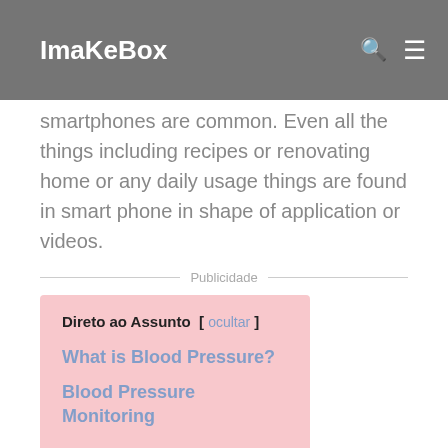ImaKeBox
smartphones are common. Even all the things including recipes or renovating home or any daily usage things are found in smart phone in shape of application or videos.
Publicidade
| Direto ao Assunto [ ocultar ] |
| What is Blood Pressure? |
| Blood Pressure Monitoring |
Nowadays, smartphone industry has grown a lot and